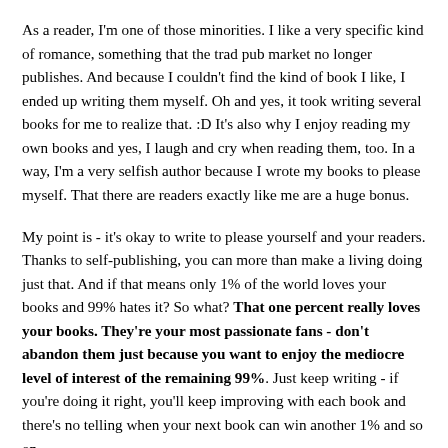As a reader, I'm one of those minorities. I like a very specific kind of romance, something that the trad pub market no longer publishes. And because I couldn't find the kind of book I like, I ended up writing them myself. Oh and yes, it took writing several books for me to realize that. :D It's also why I enjoy reading my own books and yes, I laugh and cry when reading them, too. In a way, I'm a very selfish author because I wrote my books to please myself. That there are readers exactly like me are a huge bonus.
My point is - it's okay to write to please yourself and your readers. Thanks to self-publishing, you can more than make a living doing just that. And if that means only 1% of the world loves your books and 99% hates it? So what? That one percent really loves your books. They're your most passionate fans - don't abandon them just because you want to enjoy the mediocre level of interest of the remaining 99%. Just keep writing - if you're doing it right, you'll keep improving with each book and there's no telling when your next book can win another 1% and so on.
Next time someone tries or even succeeds in making you feel down,